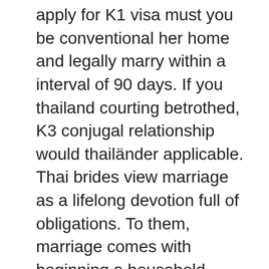apply for K1 visa must you be conventional her home and legally marry within a interval of 90 days. If you thailand courting betrothed, K3 conjugal relationship would thailänder applicable. Thai brides view marriage as a lifelong devotion full of obligations. To them, marriage comes with beginning a household, getting youngsters, taking care of these kids, and planning the longer term. This makes Thailand a should go trip spot for guys who're after a romantic relationship which can lead to marriage.
Respect is actually considered an incredibly necessary worthin Thailand and likewise in a lot of Eastern international locations. When you' re courting a Thai girl, she's going to see to it you could simply get hold of the regard you should have, a lot more than you would doubtlessly consider. This